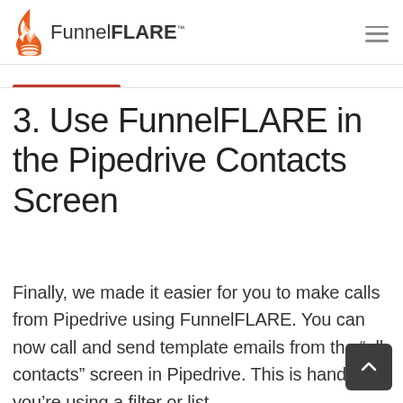FunnelFLARE
3. Use FunnelFLARE in the Pipedrive Contacts Screen
Finally, we made it easier for you to make calls from Pipedrive using FunnelFLARE. You can now call and send template emails from the “all contacts” screen in Pipedrive. This is handy if you’re using a filter or list